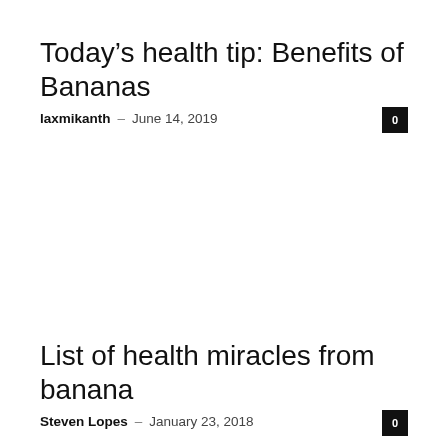Today's health tip: Benefits of Bananas
laxmikanth · June 14, 2019
List of health miracles from banana
Steven Lopes · January 23, 2018